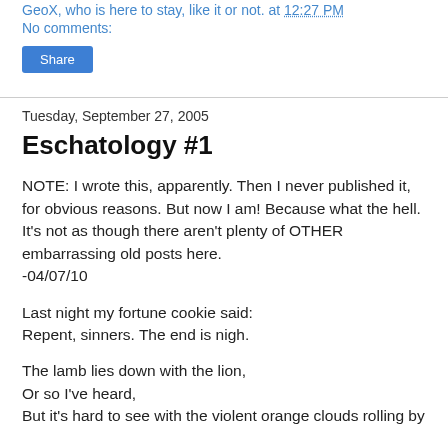GeoX, who is here to stay, like it or not. at 12:27 PM
No comments:
Share
Tuesday, September 27, 2005
Eschatology #1
NOTE: I wrote this, apparently. Then I never published it, for obvious reasons. But now I am! Because what the hell. It's not as though there aren't plenty of OTHER embarrassing old posts here.
-04/07/10
Last night my fortune cookie said:
Repent, sinners. The end is nigh.
The lamb lies down with the lion,
Or so I've heard,
But it's hard to see with the violent orange clouds rolling by